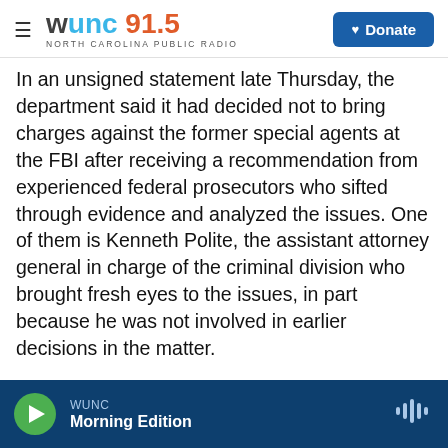[Figure (logo): WUNC 91.5 North Carolina Public Radio logo with hamburger menu icon and blue Donate button]
In an unsigned statement late Thursday, the department said it had decided not to bring charges against the former special agents at the FBI after receiving a recommendation from experienced federal prosecutors who sifted through evidence and analyzed the issues. One of them is Kenneth Polite, the assistant attorney general in charge of the criminal division who brought fresh eyes to the issues, in part because he was not involved in earlier decisions in the matter.
"While the Justice Department's Office of Inspector General has outlined serious concerns about the
WUNC Morning Edition